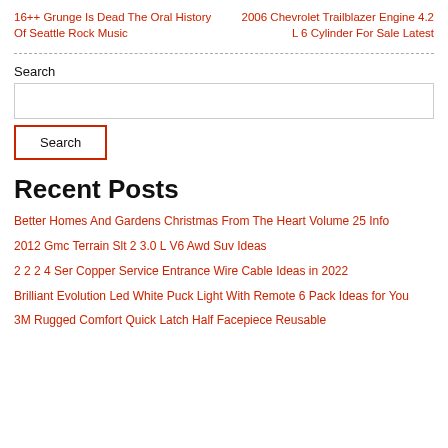16++ Grunge Is Dead The Oral History Of Seattle Rock Music
2006 Chevrolet Trailblazer Engine 4.2 L 6 Cylinder For Sale Latest
Search
Recent Posts
Better Homes And Gardens Christmas From The Heart Volume 25 Info
2012 Gmc Terrain Slt 2 3.0 L V6 Awd Suv Ideas
2 2 2 4 Ser Copper Service Entrance Wire Cable Ideas in 2022
Brilliant Evolution Led White Puck Light With Remote 6 Pack Ideas for You
3M Rugged Comfort Quick Latch Half Facepiece Reusable